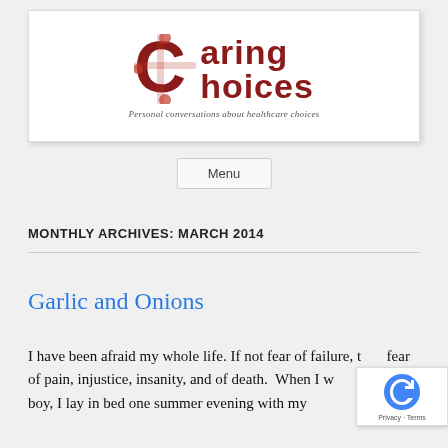[Figure (logo): Caring Choices logo with puzzle piece C icon and tagline: Personal conversations about healthcare choices]
Menu
MONTHLY ARCHIVES: MARCH 2014
Garlic and Onions
I have been afraid my whole life. If not fear of failure, then fear of pain, injustice, insanity, and of death.  When I was a young boy, I lay in bed one summer evening with my